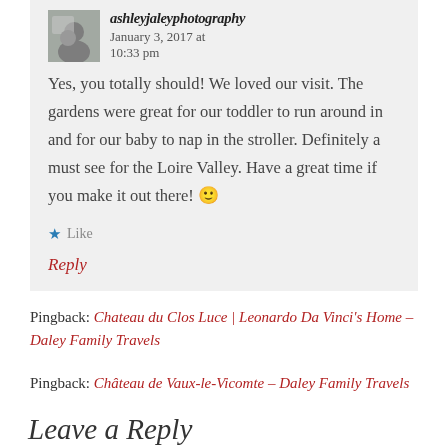ashleyjaleyphotography — January 3, 2017 at 10:33 pm
Yes, you totally should! We loved our visit. The gardens were great for our toddler to run around in and for our baby to nap in the stroller. Definitely a must see for the Loire Valley. Have a great time if you make it out there! 🙂
Like
Reply
Pingback: Chateau du Clos Luce | Leonardo Da Vinci's Home – Daley Family Travels
Pingback: Château de Vaux-le-Vicomte – Daley Family Travels
Leave a Reply